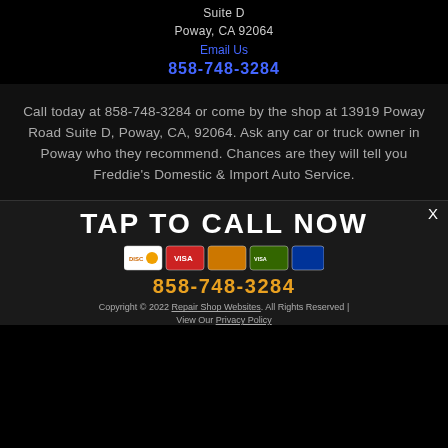Suite D
Poway, CA 92064
Email Us
858-748-3284
Call today at 858-748-3284 or come by the shop at 13919 Poway Road Suite D, Poway, CA, 92064. Ask any car or truck owner in Poway who they recommend. Chances are they will tell you Freddie's Domestic & Import Auto Service.
X
TAP TO CALL NOW
[Figure (other): Payment method icons including Discover, Visa, and other cards]
858-748-3284
Copyright © 2022 Repair Shop Websites. All Rights Reserved | View Our Privacy Policy